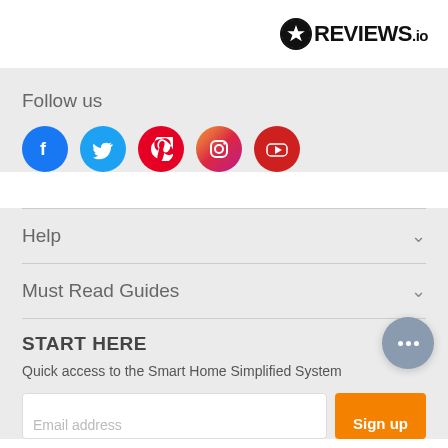REVIEWS.io
Follow us
[Figure (infographic): Social media icons: Facebook (blue), Twitter (light blue), Pinterest (red), Instagram (gradient), YouTube (red)]
Help
Must Read Guides
START HERE
Quick access to the Smart Home Simplified System
Email address
Sign up